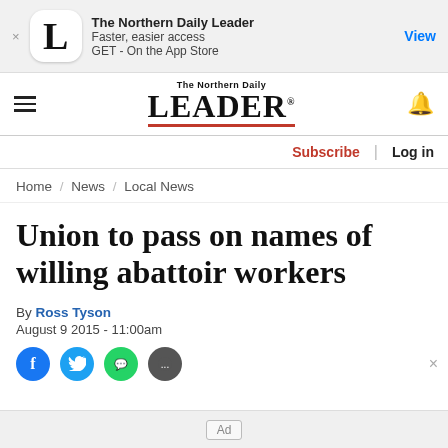[Figure (screenshot): App download banner for The Northern Daily Leader showing app icon with letter L, text 'The Northern Daily Leader, Faster, easier access, GET - On the App Store', and a blue View button]
The Northern Daily
LEADER
Subscribe | Log in
Home / News / Local News
Union to pass on names of willing abattoir workers
By Ross Tyson
August 9 2015 - 11:00am